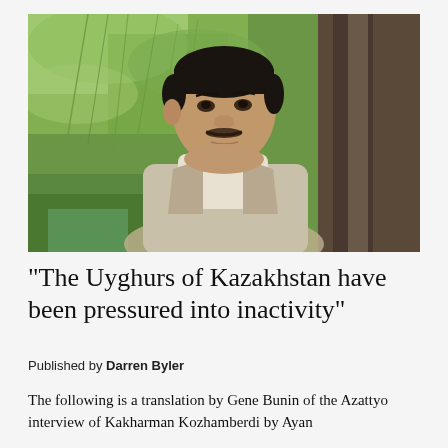[Figure (photo): A middle-aged Asian man with dark hair and a mustache, wearing a cream turtleneck and a beige/lavender jacket, sitting outdoors in front of green willow trees and a large tree trunk.]
“The Uyghurs of Kazakhstan have been pressured into inactivity”
Published by Darren Byler
The following is a translation by Gene Bunin of the Azattyo interview of Kakharman Kozhamberdi by Ayan